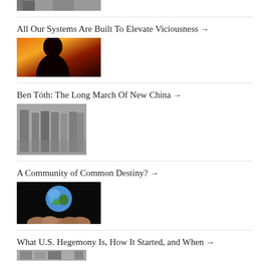[Figure (photo): Partial black and white photo of people, cropped at top]
All Our Systems Are Built To Elevate Viciousness →
[Figure (photo): Dark silhouette figure against orange fire background]
Ben Tóth: The Long March Of New China →
[Figure (photo): Black and white photo of soldiers or military group standing together outdoors]
A Community of Common Destiny? →
[Figure (photo): Hands holding up a globe against a black background]
What U.S. Hegemony Is, How It Started, and When →
[Figure (photo): Partial black and white photo, cropped at bottom of page]